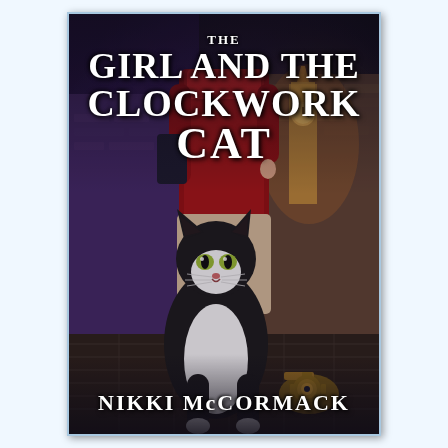[Figure (illustration): Book cover of 'The Girl and the Clockwork Cat' by Nikki McCormack. Dark steampunk-themed cover showing a black and white cat in the foreground on brick pavement, a girl in red coat visible from waist down behind the cat, Big Ben visible in the background with warm glow, purple-tinged atmospheric urban Victorian setting. The title text is in large white serif font at the top, and the author's name in white serif font at the bottom.]